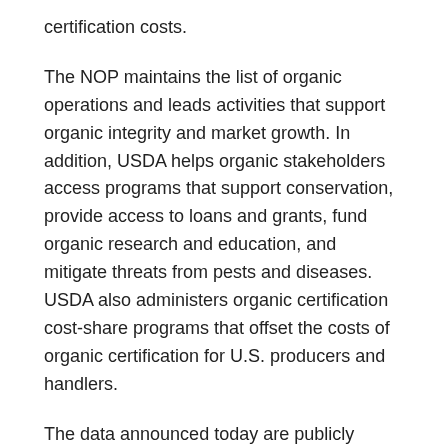certification costs.
The NOP maintains the list of organic operations and leads activities that support organic integrity and market growth. In addition, USDA helps organic stakeholders access programs that support conservation, provide access to loans and grants, fund organic research and education, and mitigate threats from pests and diseases. USDA also administers organic certification cost-share programs that offset the costs of organic certification for U.S. producers and handlers.
The data announced today are publicly available as part of the recently launched Organic Integrity Database, a modernized system for tracking certified organic operations. In the past, USDA published an updated list of certified organic operations once each year. With the new database, made possible by the 2014 Farm Bill, organic certifiers can add new operations and report changes to existing operations at any time, allowing USDA to report updated counts of certified organic operations throughout the year. The modernized system will provide data for market research, enable stakeholders to identify